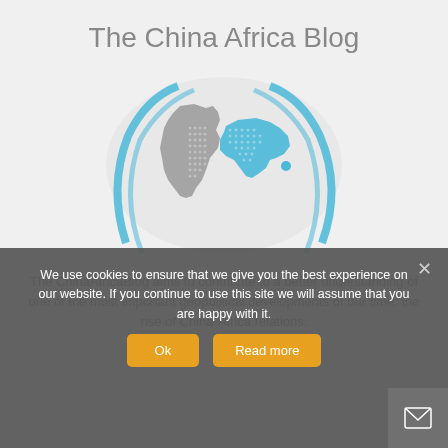The China Africa Blog
[Figure (logo): Logo showing stylized globe with Africa and China maps highlighted, with blue swoosh curves around them]
The ChinaAfricaBlog aims to contribute to a better understanding of one of the most important geopolitical developments of our time: the rise of China-Africa relations.
We use cookies to ensure that we give you the best experience on our website. If you continue to use this site we will assume that you are happy with it.
Ok   Read more